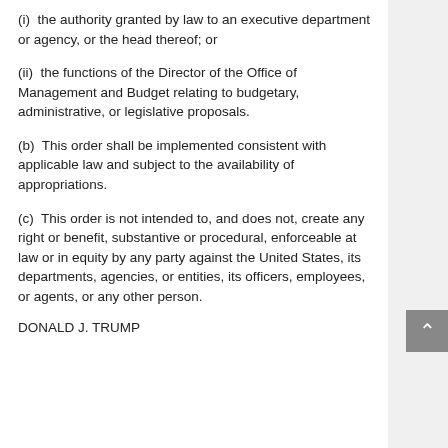(i)  the authority granted by law to an executive department or agency, or the head thereof; or
(ii)  the functions of the Director of the Office of Management and Budget relating to budgetary, administrative, or legislative proposals.
(b)  This order shall be implemented consistent with applicable law and subject to the availability of appropriations.
(c)  This order is not intended to, and does not, create any right or benefit, substantive or procedural, enforceable at law or in equity by any party against the United States, its departments, agencies, or entities, its officers, employees, or agents, or any other person.
DONALD J. TRUMP